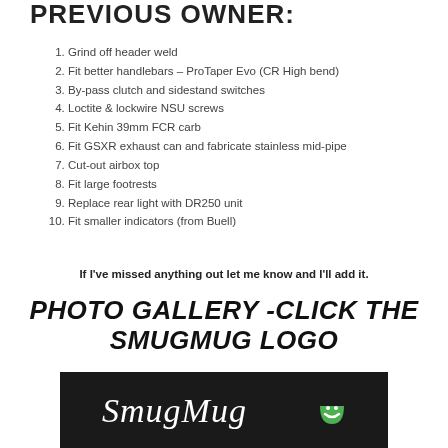PREVIOUS OWNER:
Grind off header weld
Fit better handlebars – ProTaper Evo (CR High bend)
By-pass clutch and sidestand switches
Loctite & lockwire NSU screws
Fit Kehin 39mm FCR carb
Fit GSXR exhaust can and fabricate stainless mid-pipe
Cut-out airbox top
Fit large footrests
Replace rear light with DR250 unit
Fit smaller indicators (from Buell)
If I've missed anything out let me know and I'll add it.
PHOTO GALLERY -CLICK THE SMUGMUG LOGO
[Figure (logo): SmugMug logo on black background with stylized mug icon]